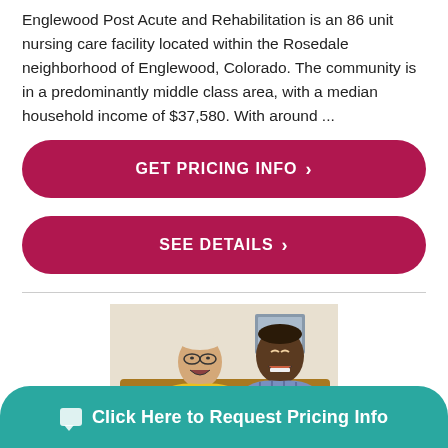Englewood Post Acute and Rehabilitation is an 86 unit nursing care facility located within the Rosedale neighborhood of Englewood, Colorado. The community is in a predominantly middle class area, with a median household income of $37,580. With around ...
[Figure (infographic): Dark red/crimson rounded rectangle button labeled 'GET PRICING INFO' with right chevron]
[Figure (infographic): Dark red/crimson rounded rectangle button labeled 'SEE DETAILS' with right chevron]
[Figure (photo): Two elderly men laughing and sitting together, one in yellow shirt, one in blue striped shirt]
[Figure (infographic): Teal rounded call-to-action bar with chat icon and text 'Click Here to Request Pricing Info']